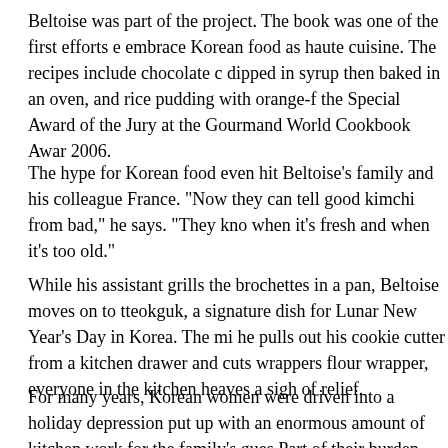Beltoise was part of the project. The book was one of the first efforts e embrace Korean food as haute cuisine. The recipes include chocolate c dipped in syrup then baked in an oven, and rice pudding with orange-f the Special Award of the Jury at the Gourmand World Cookbook Awar 2006.
The hype for Korean food even hit Beltoise's family and his colleague France. "Now they can tell good kimchi from bad," he says. "They kno when it's fresh and when it's too old."
While his assistant grills the brochettes in a pan, Beltoise moves on to tteokguk, a signature dish for Lunar New Year's Day in Korea. The mi he pulls out his cookie cutter from a kitchen drawer and cuts wrappers flour wrapper, everyone in the kitchen heaves a sigh of relief.
For many years, Korean women were driven into a holiday depression put up with an enormous amount of kitchen work for the family's gues Part of their burden was to crank out trays of mandu, or Korean dumpl